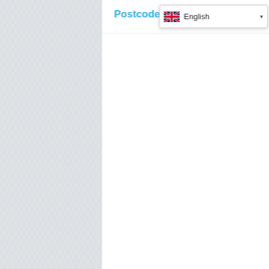Postcode Lottery Gre...
[Figure (screenshot): Language selector dropdown showing UK flag and 'English' text with dropdown arrow]
[Figure (screenshot): White content panel area, mostly blank/empty, representing a webpage content area with textured grey background on sides]